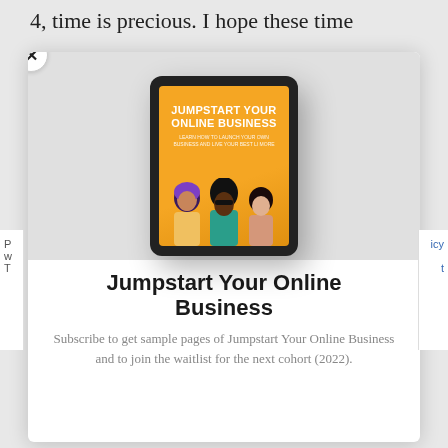4, time is precious. I hope these time
[Figure (screenshot): A modal popup overlay showing a tablet device displaying the cover of 'Jumpstart Your Online Business' ebook with three illustrated women on an orange background. The modal has a close (X) button in the top-left corner.]
Jumpstart Your Online Business
Subscribe to get sample pages of Jumpstart Your Online Business and to join the waitlist for the next cohort (2022).